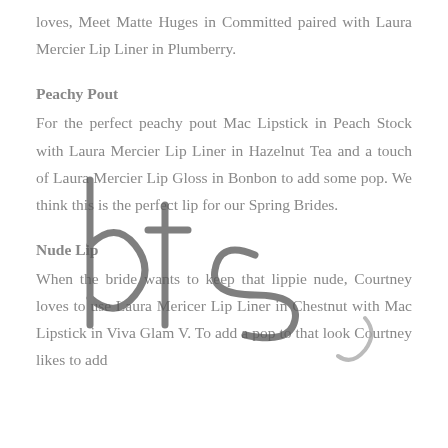loves, Meet Matte Huges in Committed paired with Laura Mercier Lip Liner in Plumberry.
Peachy Pout
For the perfect peachy pout Mac Lipstick in Peach Stock with Laura Mercier Lip Liner in Hazelnut Tea and a touch of Laura Mercier Lip Gloss in Bonbon to add some pop. We think this is the perfect lip for our Spring Brides.
Nude Lip
When the bride wants to keep that lippie nude, Courtney loves to use Laura Mericer Lip Liner in Chestnut with Mac Lipstick in Viva Glam V. To add a pop to that look Courtney likes to add